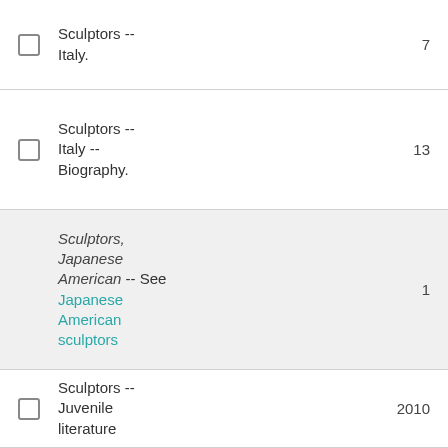Sculptors -- Italy.   7
Sculptors -- Italy -- Biography.   13
Sculptors, Japanese American -- See Japanese American sculptors   1
Sculptors -- Juvenile literature   2010